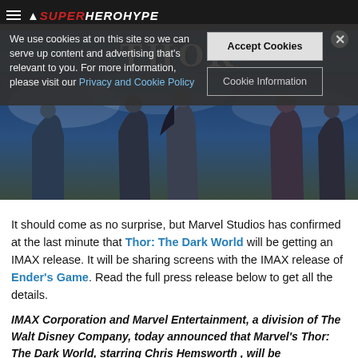SuperHeroHype
We use cookies at on this site so we can serve up content and advertising that's relevant to you. For more information, please visit our Privacy and Cookie Policy
[Figure (screenshot): Thor: The Dark World movie banner — IN THEATERS 11.8.13 — with characters in cinematic composition]
It should come as no surprise, but Marvel Studios has confirmed at the last minute that Thor: The Dark World will be getting an IMAX release. It will be sharing screens with the IMAX release of Ender's Game. Read the full press release below to get all the details.
IMAX Corporation and Marvel Entertainment, a division of The Walt Disney Company, today announced that Marvel's Thor: The Dark World, starring Chris Hemsworth , will be